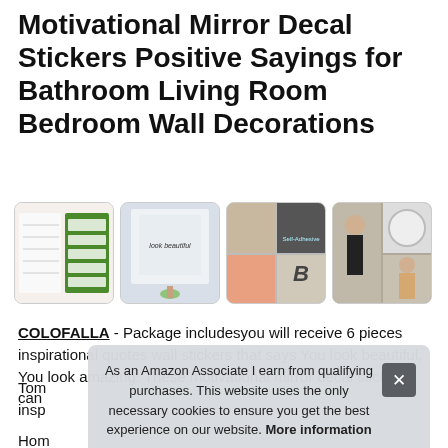Motivational Mirror Decal Stickers Positive Sayings for Bathroom Living Room Bedroom Wall Decorations
[Figure (photo): Row of four product images: sticker sheet collage, bathroom mirror with decal, multi-image product collage, lifestyle/application photos]
COLOFALLA - Package includesyou will receive 6 pieces inspirational quotes wall stickers that says You look beautiful, You look amazing. These motivational mirror decal stickers can... Tom... insp...
As an Amazon Associate I earn from qualifying purchases. This website uses the only necessary cookies to ensure you get the best experience on our website. More information
Hom...